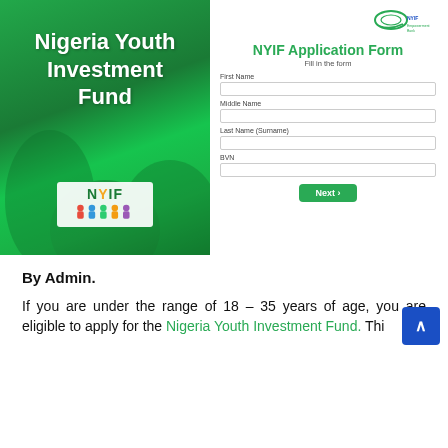[Figure (illustration): Nigeria Youth Investment Fund promotional image with green background showing people, and NYIF logo badge at bottom]
[Figure (screenshot): NYIF Application Form with fields for First Name, Middle Name, Last Name (Surname), BVN, and a Next button]
By Admin.
If you are under the range of 18 – 35 years of age, you are eligible to apply for the Nigeria Youth Investment Fund. Thi...